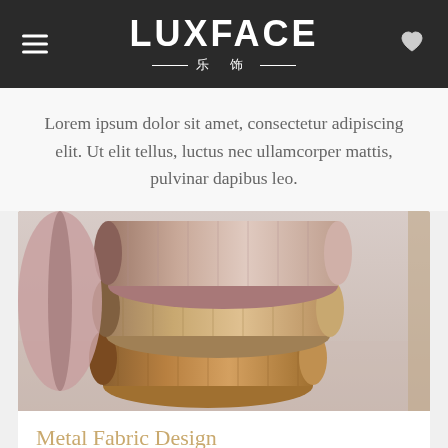LUXFACE 乐 饰
Lorem ipsum dolor sit amet, consectetur adipiscing elit. Ut elit tellus, luctus nec ullamcorper mattis, pulvinar dapibus leo.
[Figure (photo): Three rolled fabric/wallpaper tubes with geometric diamond pattern in muted pink, beige, and caramel/brown tones, photographed close-up on a light grey background.]
Metal Fabric Design